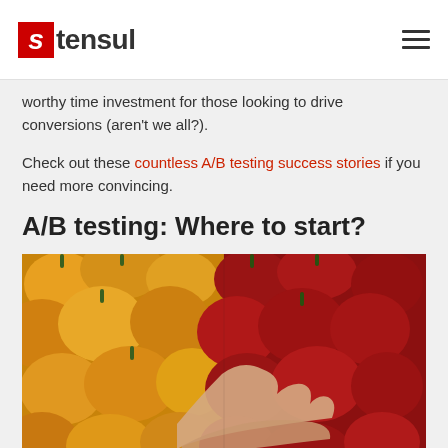stensul
worthy time investment for those looking to drive conversions (aren't we all?).
Check out these countless A/B testing success stories if you need more convincing.
A/B testing: Where to start?
[Figure (photo): A hand reaching toward red bell peppers placed next to a pile of yellow bell peppers, illustrating an A/B choice between two options.]